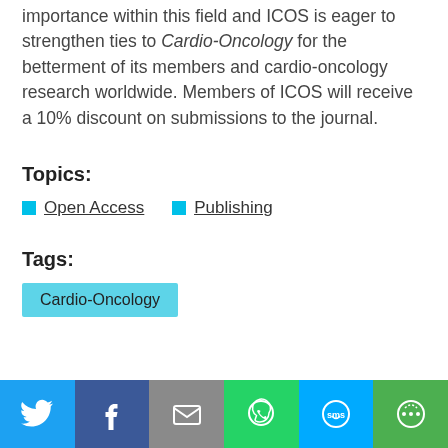importance within this field and ICOS is eager to strengthen ties to Cardio-Oncology for the betterment of its members and cardio-oncology research worldwide. Members of ICOS will receive a 10% discount on submissions to the journal.
Topics:
Open Access
Publishing
Tags:
Cardio-Oncology
[Figure (infographic): Social sharing bar with Twitter, Facebook, Email, WhatsApp, SMS, and More buttons]